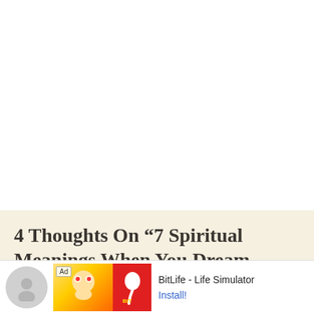4 Thoughts On “7 Spiritual Meanings When You Dream About Ex”
[Figure (other): Advertisement banner for BitLife - Life Simulator app, showing an Ad badge, cartoon character image on yellow/orange background, red panel with sperm icon logo, app name 'BitLife - Life Simulator', and an 'Install!' button link]